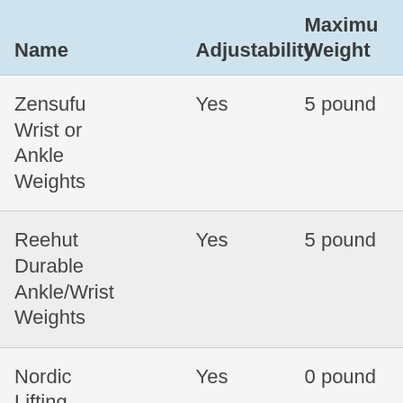| Name | Adjustability | Maximum Weight |
| --- | --- | --- |
| Zensufu Wrist or Ankle Weights | Yes | 5 pounds |
| Reehut Durable Ankle/Wrist Weights | Yes | 5 pounds |
| Nordic Lifting Wrist Wraps | Yes | 0 pounds |
| Da Vinci | Yes | 5 pounds |